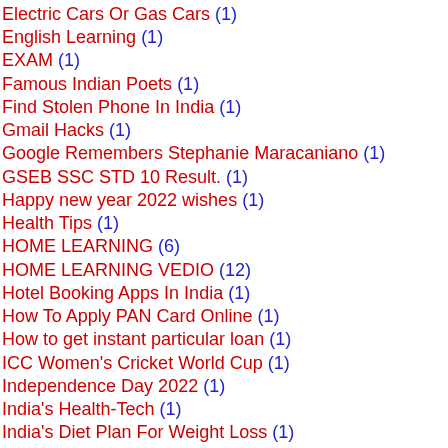Electric Cars Or Gas Cars (1)
English Learning (1)
EXAM (1)
Famous Indian Poets (1)
Find Stolen Phone In India (1)
Gmail Hacks (1)
Google Remembers Stephanie Maracaniano (1)
GSEB SSC STD 10 Result. (1)
Happy new year 2022 wishes (1)
Health Tips (1)
HOME LEARNING (6)
HOME LEARNING VEDIO (12)
Hotel Booking Apps In India (1)
How To Apply PAN Card Online (1)
How to get instant particular loan (1)
ICC Women's Cricket World Cup (1)
Independence Day 2022 (1)
India's Health-Tech (1)
India's Diet Plan For Weight Loss (1)